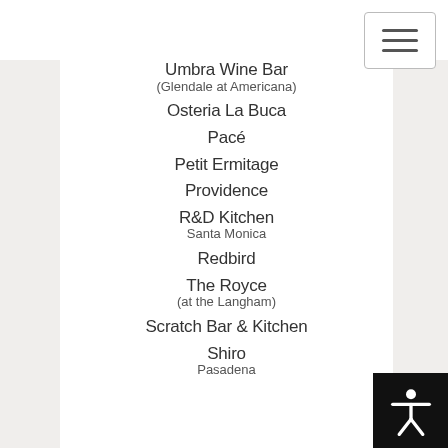[Figure (other): Hamburger menu button in top right corner]
Umbra Wine Bar
(Glendale at Americana)
Osteria La Buca
Pacé
Petit Ermitage
Providence
R&D Kitchen
Santa Monica
Redbird
The Royce
(at the Langham)
Scratch Bar & Kitchen
Shiro
Pasadena